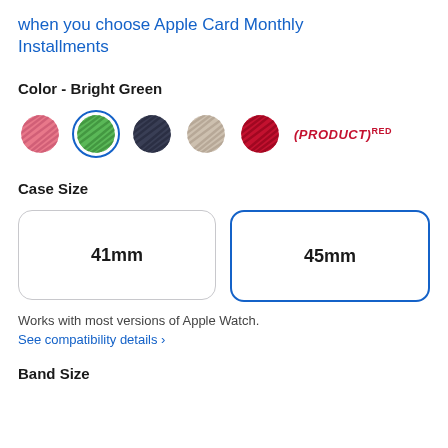when you choose Apple Card Monthly Installments
Color - Bright Green
[Figure (other): Color swatch options: pink (braided pattern), bright green (braided pattern, selected with blue ring), dark navy (braided pattern), light beige/tan (braided pattern), red (braided pattern), and (PRODUCT)RED label]
Case Size
[Figure (other): Two case size buttons: 41mm (unselected, gray border) and 45mm (selected, blue border)]
Works with most versions of Apple Watch.
See compatibility details >
Band Size